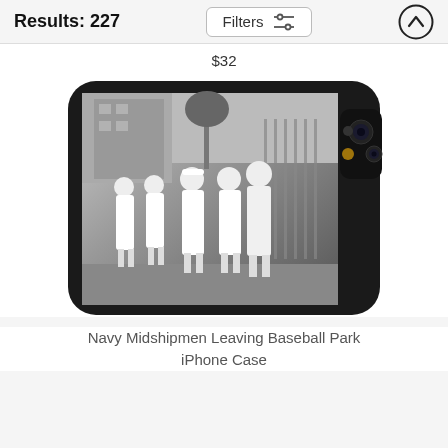Results: 227
Filters
$32
[Figure (photo): A phone case featuring a black and white photograph of Navy Midshipmen in white uniforms walking near a baseball park fence, with palm trees and buildings in background. The phone case shows a dark camera module on the right side.]
Navy Midshipmen Leaving Baseball Park iPhone Case